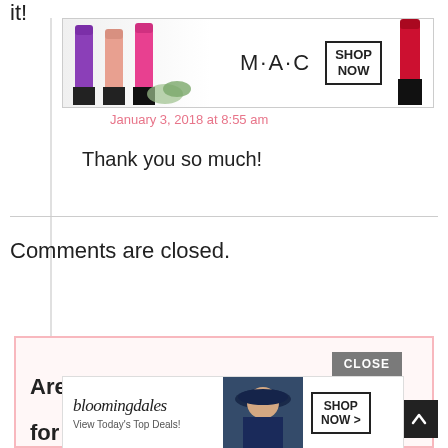it!
[Figure (photo): MAC Cosmetics advertisement banner showing colorful lipsticks (purple, pink, hot pink) on the left, MAC logo in the center, a SHOP NOW button, and a red lipstick on the right]
January 3, 2018 at 8:55 am
Thank you so much!
Comments are closed.
[Figure (screenshot): Bloomingdale's advertisement with logo, 'View Today's Top Deals!' tagline, a model wearing a blue hat, and a SHOP NOW > button. Overlaid with a CLOSE button in gray.]
Are
for